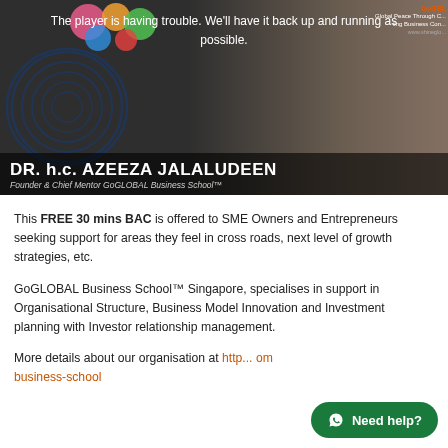[Figure (screenshot): Video banner screenshot showing error message 'The player is having trouble. We'll have it back up and running as soon as possible.' overlaid on a dark background image of Dr. h.c. Azeeza Jalaludeen, Founder & Chief Mentor GoGLOBAL Business School™. Fingerprint graphic on lower left, colorful circles top center, GoGlobal branding top right.]
This FREE 30 mins BAC is offered to SME Owners and Entrepreneurs seeking support for areas they feel in cross roads, next level of growth strategies, etc.
GoGLOBAL Business School™ Singapore, specialises in support in Organisational Structure, Business Model Innovation and Investment planning with Investor relationship management.
More details about our organisation at http://...com/business-school